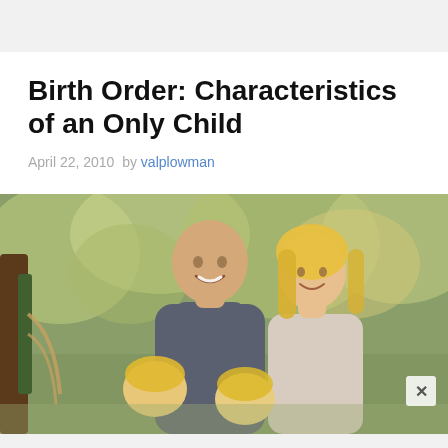Birth Order: Characteristics of an Only Child
April 22, 2010  by  valplowman
[Figure (photo): A smiling bald man and blonde woman with two young blonde children, photographed outdoors in an autumn setting near a playground structure, with blurred green/golden trees in background.]